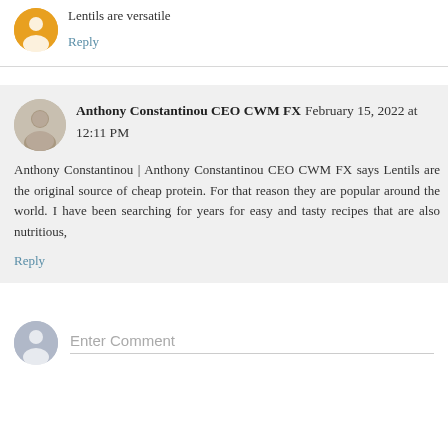Lentils are versatile
Reply
Anthony Constantinou CEO CWM FX February 15, 2022 at 12:11 PM
Anthony Constantinou | Anthony Constantinou CEO CWM FX says Lentils are the original source of cheap protein. For that reason they are popular around the world. I have been searching for years for easy and tasty recipes that are also nutritious,
Reply
Enter Comment